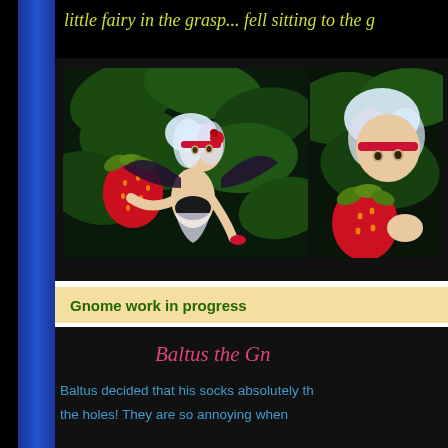little fairy in the grasp... fell sitting to the g
[Figure (photo): Two photos of a fairy doll with white hair and red headband holding a large strawberry, posed among green leaves against a dark background]
Gnome work in progress
Baltus the Gn
Baltus decided that his socks absolutely th
the holes! They are so annoying when